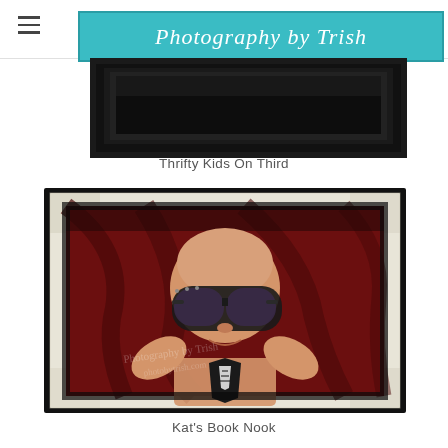Photography by Trish
[Figure (photo): Partial top view of a framed photograph with dark/black background, partially cut off at top of page]
Thrifty Kids On Third
[Figure (photo): A baby wearing oversized aviator sunglasses and a black and white tie/bow, lying on a dark red/maroon fabric background, displayed as a framed photograph with vintage/distressed white border. Watermark text visible.]
Kat's Book Nook